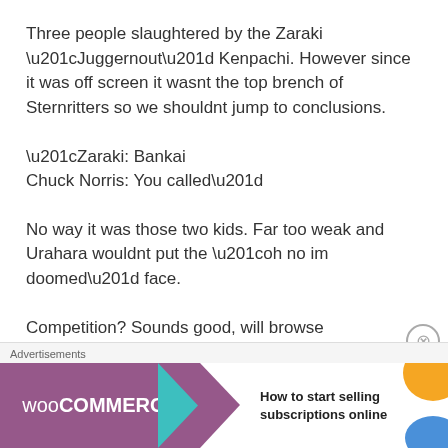Three people slaughtered by the Zaraki “Juggernout” Kenpachi. However since it was off screen it wasnt the top brench of Sternritters so we shouldnt jump to conclusions.
“Zaraki: Bankai
Chuck Norris: You called”
No way it was those two kids. Far too weak and Urahara wouldnt put the “oh no im doomed” face.
Competition? Sounds good, will browse
Advertisements
[Figure (other): WooCommerce advertisement banner: purple background with WooCommerce logo and text 'How to start selling subscriptions online', with teal arrow shape and orange/blue decorative blobs]